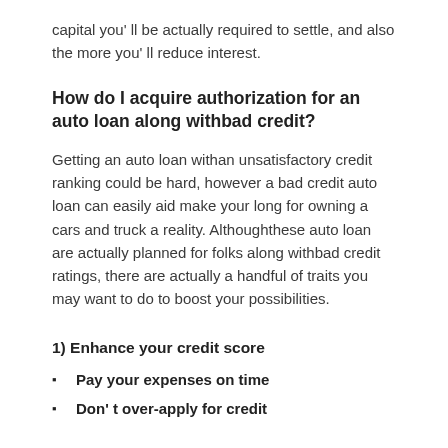capital you’ ll be actually required to settle, and also the more you’ ll reduce interest.
How do I acquire authorization for an auto loan along withbad credit?
Getting an auto loan withan unsatisfactory credit ranking could be hard, however a bad credit auto loan can easily aid make your long for owning a cars and truck a reality. Althoughthese auto loan are actually planned for folks along withbad credit ratings, there are actually a handful of traits you may want to do to boost your possibilities.
1) Enhance your credit score
Pay your expenses on time
Don’ t over-apply for credit